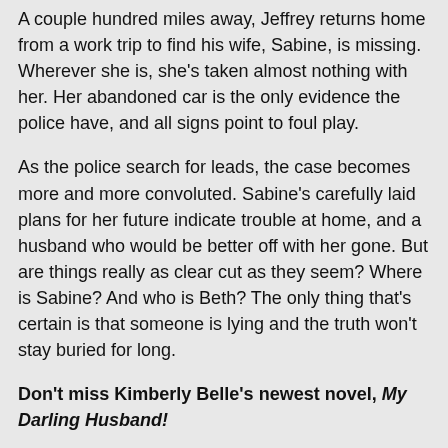A couple hundred miles away, Jeffrey returns home from a work trip to find his wife, Sabine, is missing. Wherever she is, she's taken almost nothing with her. Her abandoned car is the only evidence the police have, and all signs point to foul play.
As the police search for leads, the case becomes more and more convoluted. Sabine's carefully laid plans for her future indicate trouble at home, and a husband who would be better off with her gone. But are things really as clear cut as they seem? Where is Sabine? And who is Beth? The only thing that's certain is that someone is lying and the truth won't stay buried for long.
Don't miss Kimberly Belle's newest novel, My Darling Husband!
Product Details